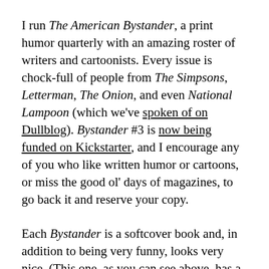I run The American Bystander, a print humor quarterly with an amazing roster of writers and cartoonists. Every issue is chock-full of people from The Simpsons, Letterman, The Onion, and even National Lampoon (which we've spoken of on Dullblog). Bystander #3 is now being funded on Kickstarter, and I encourage any of you who like written humor or cartoons, or miss the good ol' days of magazines, to go back it and reserve your copy.
Each Bystander is a softcover book and, in addition to being very funny, looks very nice. (This one, as you can see above, has a cover by the wonderful Drew Friedman.) Copies can be found in swanky offices and reception areas all around New York and Hollywood. Last July, The New York Times gave us a rave review. This week